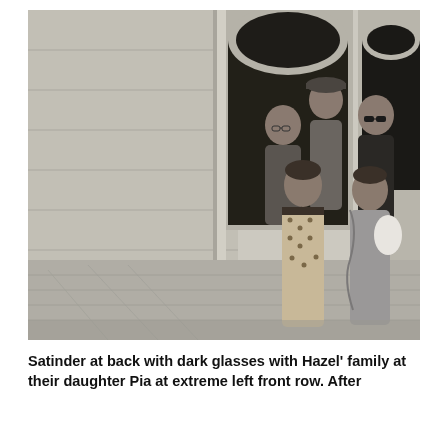[Figure (photo): Black and white photograph of a group of people standing in front of a large stone building with arched doorways. Several people are visible: two women in the front row wearing Indian attire, and three men standing behind them. The building has classical architecture with prominent stone arches.]
Satinder at back with dark glasses with Hazel' family at their daughter Pia at extreme left front row.  After